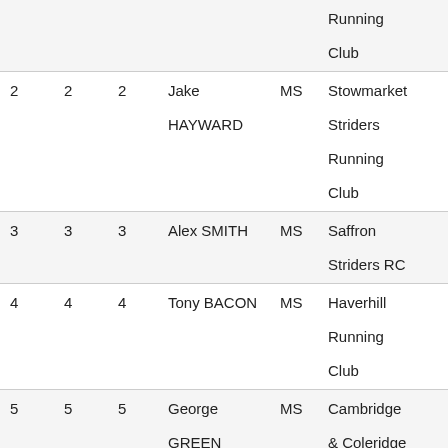| Pos | Pos | Pos | Name | Cat | Club | Time |
| --- | --- | --- | --- | --- | --- | --- |
|  |  |  | Running
Club |  |  |  |
| 2 | 2 | 2 | Jake HAYWARD | MS | Stowmarket Striders Running Club | 0:3… |
| 3 | 3 | 3 | Alex SMITH | MS | Saffron Striders RC | 0:3… |
| 4 | 4 | 4 | Tony BACON | MS | Haverhill Running Club | 0:3… |
| 5 | 5 | 5 | George GREEN | MS | Cambridge & Coleridge AC | 0:3… |